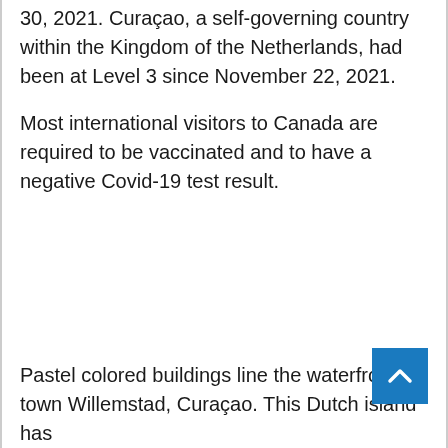30, 2021. Curaçao, a self-governing country within the Kingdom of the Netherlands, had been at Level 3 since November 22, 2021.
Most international visitors to Canada are required to be vaccinated and to have a negative Covid-19 test result.
Pastel colored buildings line the waterfront of town Willemstad, Curaçao. This Dutch island has